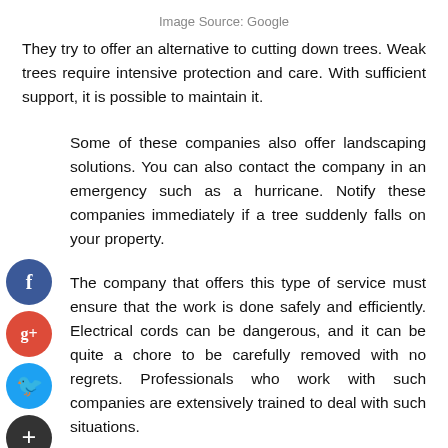Image Source: Google
They try to offer an alternative to cutting down trees. Weak trees require intensive protection and care. With sufficient support, it is possible to maintain it.
Some of these companies also offer landscaping solutions. You can also contact the company in an emergency such as a hurricane. Notify these companies immediately if a tree suddenly falls on your property.
The company that offers this type of service must ensure that the work is done safely and efficiently. Electrical cords can be dangerous, and it can be quite a chore to be carefully removed with no regrets. Professionals who work with such companies are extensively trained to deal with such situations.